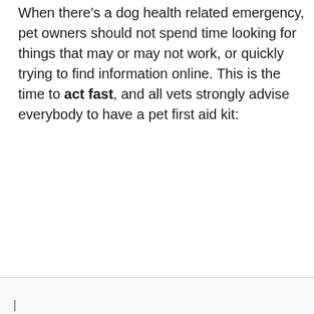When there's a dog health related emergency, pet owners should not spend time looking for things that may or may not work, or quickly trying to find information online. This is the time to act fast, and all vets strongly advise everybody to have a pet first aid kit: